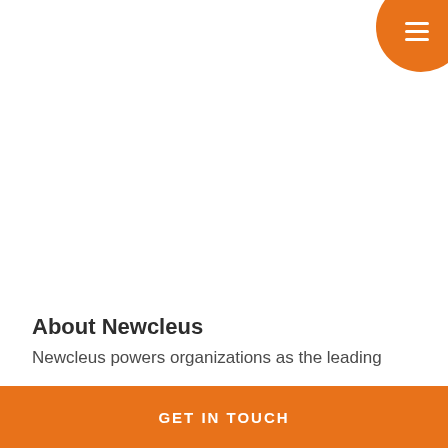[Figure (other): Orange circular menu button with three horizontal white lines (hamburger icon) in the top-right corner]
About Newcleus
Newcleus powers organizations as the leading
GET IN TOUCH